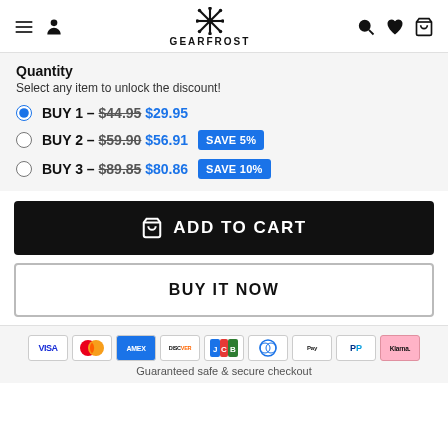GEARFROST
Quantity
Select any item to unlock the discount!
BUY 1 - $44.95 $29.95
BUY 2 - $59.90 $56.91 SAVE 5%
BUY 3 - $89.85 $80.86 SAVE 10%
ADD TO CART
BUY IT NOW
[Figure (other): Payment method icons: VISA, Mastercard, AMEX, DISCOVER, JCB, Diners Club, Apple Pay, PayPal, Klarna]
Guaranteed safe & secure checkout